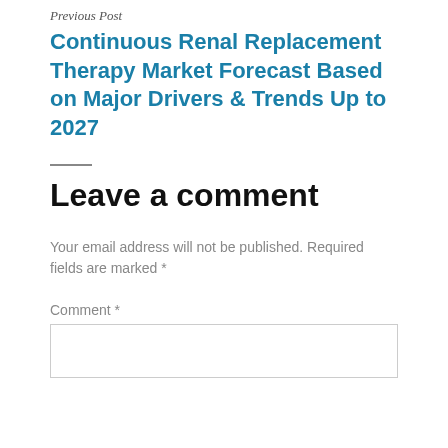Previous Post
Continuous Renal Replacement Therapy Market Forecast Based on Major Drivers & Trends Up to 2027
Leave a comment
Your email address will not be published. Required fields are marked *
Comment *